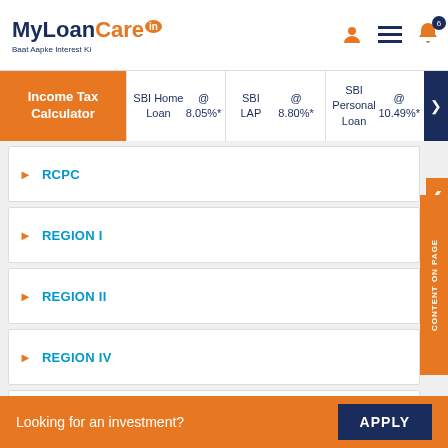[Figure (logo): MyLoanCare.in logo with tagline 'Baat Aapke Interest Ki']
Income Tax Calculator
SBI Home Loan @ 8.05%*
SBI LAP @ 8.80%*
SBI Personal Loan @ 10.49%*
RCPC
REGION I
REGION II
REGION IV
REMOTE RM CENTRE WEALTH BANGALORE
RESIDENCY ROADBANGALORE
RETAIL ASSETS CENTRAL PROCESSING CENTRE RACPC
Looking for an investment? APPLY